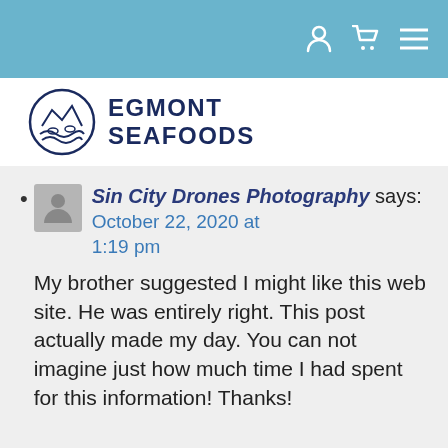Navigation bar with user, cart, and menu icons
[Figure (logo): Egmont Seafoods logo: circular fish/wave emblem with text EGMONT SEAFOODS]
Sin City Drones Photography says: October 22, 2020 at 1:19 pm — My brother suggested I might like this web site. He was entirely right. This post actually made my day. You can not imagine just how much time I had spent for this information! Thanks!